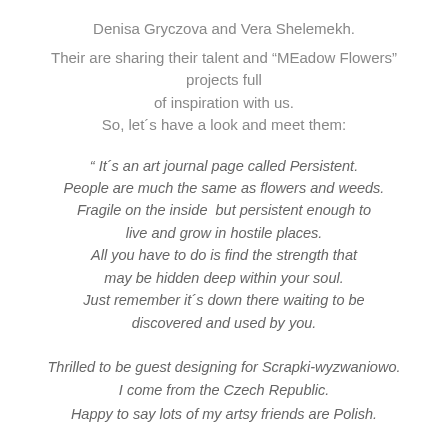Denisa Gryczova and Vera Shelemekh.
Their are sharing their talent and "MEadow Flowers" projects full of inspiration with us. So, let´s have a look and meet them:
" It´s an art journal page called Persistent. People are much the same as flowers and weeds. Fragile on the inside  but persistent enough to live and grow in hostile places. All you have to do is find the strength that may be hidden deep within your soul. Just remember it´s down there waiting to be discovered and used by you.
Thrilled to be guest designing for Scrapki-wyzwaniowo. I come from the Czech Republic. Happy to say lots of my artsy friends are Polish.